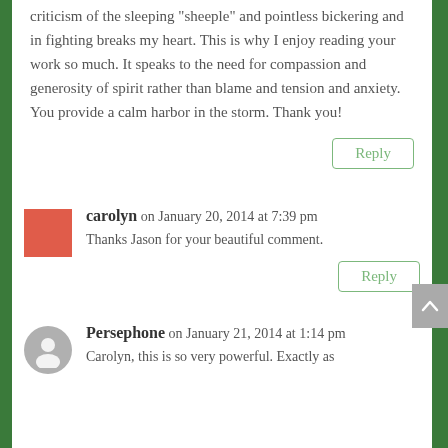criticism of the sleeping “sheeple” and pointless bickering and in fighting breaks my heart. This is why I enjoy reading your work so much. It speaks to the need for compassion and generosity of spirit rather than blame and tension and anxiety. You provide a calm harbor in the storm. Thank you!
Reply
carolyn on January 20, 2014 at 7:39 pm
Thanks Jason for your beautiful comment.
Reply
Persephone on January 21, 2014 at 1:14 pm
Carolyn, this is so very powerful. Exactly as